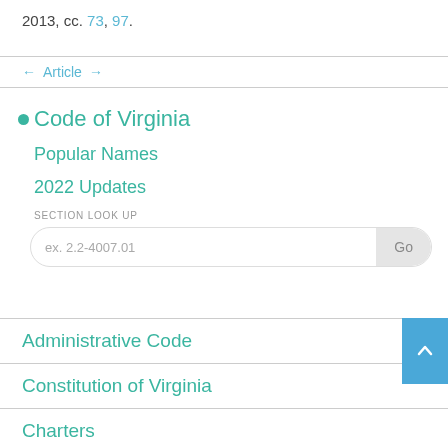2013, cc. 73, 97.
← Article →
Code of Virginia
Popular Names
2022 Updates
SECTION LOOK UP
ex. 2.2-4007.01
Administrative Code
Constitution of Virginia
Charters
Authorities